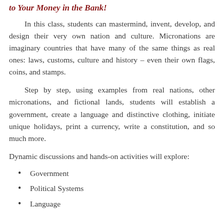to Your Money in the Bank!
In this class, students can mastermind, invent, develop, and design their very own nation and culture. Micronations are imaginary countries that have many of the same things as real ones: laws, customs, culture and history – even their own flags, coins, and stamps.
Step by step, using examples from real nations, other micronations, and fictional lands, students will establish a government, create a language and distinctive clothing, initiate unique holidays, print a currency, write a constitution, and so much more.
Dynamic discussions and hands-on activities will explore:
Government
Political Systems
Language